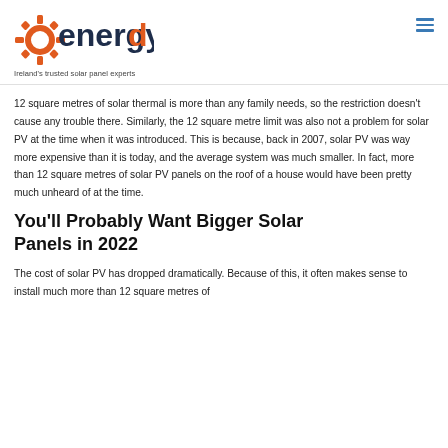energyd — Ireland's trusted solar panel experts
12 square metres of solar thermal is more than any family needs, so the restriction doesn't cause any trouble there. Similarly, the 12 square metre limit was also not a problem for solar PV at the time when it was introduced. This is because, back in 2007, solar PV was way more expensive than it is today, and the average system was much smaller. In fact, more than 12 square metres of solar PV panels on the roof of a house would have been pretty much unheard of at the time.
You'll Probably Want Bigger Solar Panels in 2022
The cost of solar PV has dropped dramatically. Because of this, it often makes sense to install much more than 12 square metres of